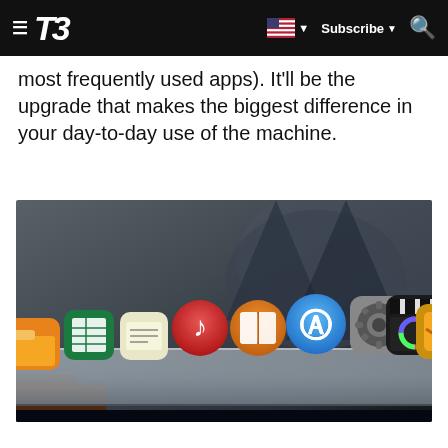T3 | Subscribe | Search
most frequently used apps). It'll be the upgrade that makes the biggest difference in your day-to-day use of the machine.
[Figure (photo): Close-up photo of a Mac Dock showing various app icons including Google Sheets, iTunes/Music, iBooks, App Store, System Preferences, Final Cut Pro X, and Pixelmator on a metallic dock rail, with a dark mountain wallpaper in the background.]